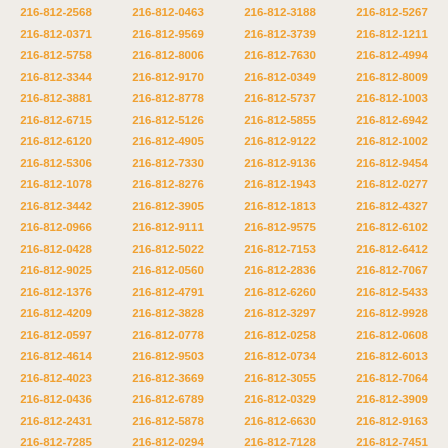216-812-2568 216-812-0463 216-812-3188 216-812-5267 216-812-0371 216-812-9569 216-812-3739 216-812-1211 216-812-5758 216-812-8006 216-812-7630 216-812-4994 216-812-3344 216-812-9170 216-812-0349 216-812-8009 216-812-3881 216-812-8778 216-812-5737 216-812-1003 216-812-6715 216-812-5126 216-812-5855 216-812-6942 216-812-6120 216-812-4905 216-812-9122 216-812-1002 216-812-5306 216-812-7330 216-812-9136 216-812-9454 216-812-1078 216-812-8276 216-812-1943 216-812-0277 216-812-3442 216-812-3905 216-812-1813 216-812-4327 216-812-0966 216-812-9111 216-812-9575 216-812-6102 216-812-0428 216-812-5022 216-812-7153 216-812-6412 216-812-9025 216-812-0560 216-812-2836 216-812-7067 216-812-1376 216-812-4791 216-812-6260 216-812-5433 216-812-4209 216-812-3828 216-812-3297 216-812-9928 216-812-0597 216-812-0778 216-812-0258 216-812-0608 216-812-4614 216-812-9503 216-812-0734 216-812-6013 216-812-4023 216-812-3669 216-812-3055 216-812-7064 216-812-0436 216-812-6789 216-812-0329 216-812-3909 216-812-2431 216-812-5878 216-812-6630 216-812-9163 216-812-7285 216-812-0294 216-812-7128 216-812-7451 216-812-7599 216-812-9838 216-812-8117 216-812-6344 216-812-9201 216-812-5933 216-812-8124 216-812-6316 216-812-7155 216-812-7268 216-812-6590 216-812-8945 216-812-6271 216-812-2243 216-812-9878 216-812-9296 216-812-3830 216-812-1691 216-812-4954 216-812-7775 216-812-4417 216-812-2254 216-812-4488 216-812-4782 216-812-7214 216-812-6522 216-812-1253 216-812-2844 216-812-7636 216-812-4852 216-812-4634 216-812-5763 216-812-9239 216-812-8329 216-812-5366 216-812-9508